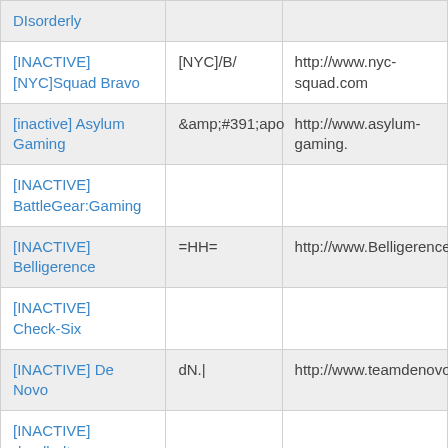| Name | Tag | URL |
| --- | --- | --- |
| DIsorderly |  |  |
| [INACTIVE] [NYC]Squad Bravo | [NYC]/B/ | http://www.nyc-squad.com |
| [inactive] Asylum Gaming | &amp;#391;apo | http://www.asylum-gaming. |
| [INACTIVE] BattleGear:Gaming |  |  |
| [INACTIVE] Belligerence | =HH= | http://www.Belligerence.ca |
| [INACTIVE] Check-Six |  |  |
| [INACTIVE] De Novo | dN.| | http://www.teamdenovo.com |
| [INACTIVE] deadbolt |  |  |
| [INACTIVE] | e^ | http://www.echeloncity.com |